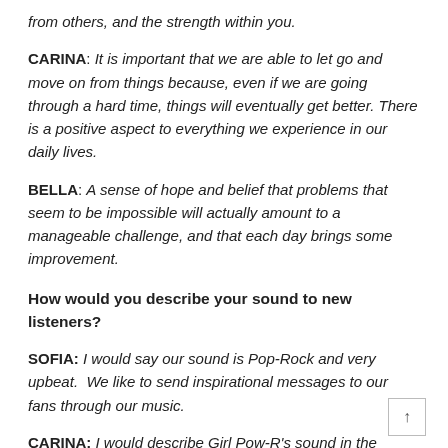from others, and the strength within you.
CARINA: It is important that we are able to let go and move on from things because, even if we are going through a hard time, things will eventually get better. There is a positive aspect to everything we experience in our daily lives.
BELLA: A sense of hope and belief that problems that seem to be impossible will actually amount to a manageable challenge, and that each day brings some improvement.
How would you describe your sound to new listeners?
SOFIA: I would say our sound is Pop-Rock and very upbeat. We like to send inspirational messages to our fans through our music.
CARINA: I would describe Girl Pow-R's sound in the words